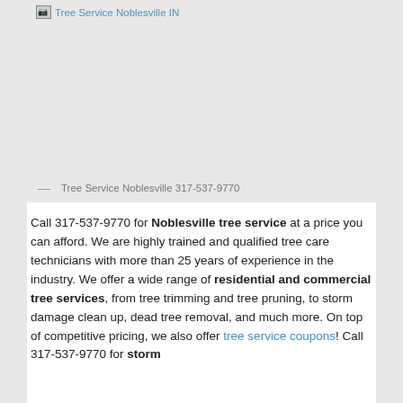[Figure (photo): Broken image placeholder for Tree Service Noblesville IN with gray background]
— Tree Service Noblesville 317-537-9770
Call 317-537-9770 for Noblesville tree service at a price you can afford. We are highly trained and qualified tree care technicians with more than 25 years of experience in the industry. We offer a wide range of residential and commercial tree services, from tree trimming and tree pruning, to storm damage clean up, dead tree removal, and much more. On top of competitive pricing, we also offer tree service coupons! Call 317-537-9770 for storm